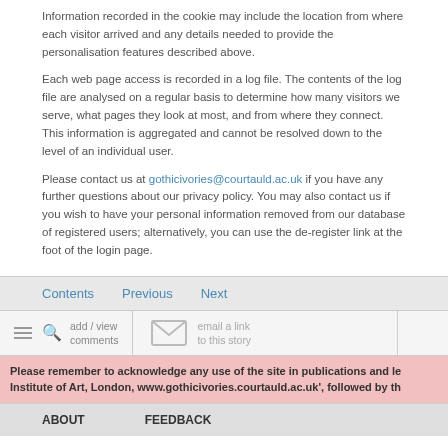Information recorded in the cookie may include the location from where each visitor arrived and any details needed to provide the personalisation features described above.
Each web page access is recorded in a log file. The contents of the log file are analysed on a regular basis to determine how many visitors we serve, what pages they look at most, and from where they connect. This information is aggregated and cannot be resolved down to the level of an individual user.
Please contact us at gothicivories@courtauld.ac.uk if you have any further questions about our privacy policy. You may also contact us if you wish to have your personal information removed from our database of registered users; alternatively, you can use the de-register link at the foot of the login page.
Contents   Previous   Next
add / view comments   email a link to this story
Please remember to acknowledge any use of the site in publications and le Institute of Art, London, www.gothicivories.courtauld.ac.uk', followed by th
ABOUT   FEEDBACK